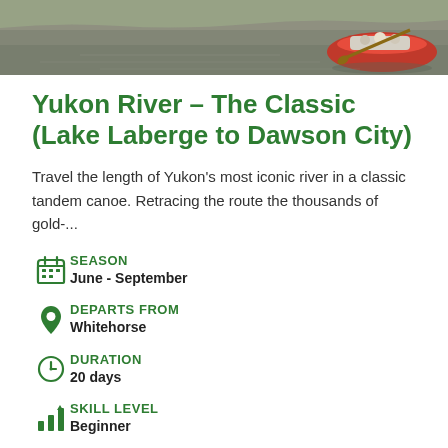[Figure (photo): Hero image showing a river scene with a red canoe in the upper right corner, water and landscape in background]
Yukon River – The Classic (Lake Laberge to Dawson City)
Travel the length of Yukon's most iconic river in a classic tandem canoe. Retracing the route the thousands of gold-...
SEASON
June - September
DEPARTS FROM
Whitehorse
DURATION
20 days
SKILL LEVEL
Beginner